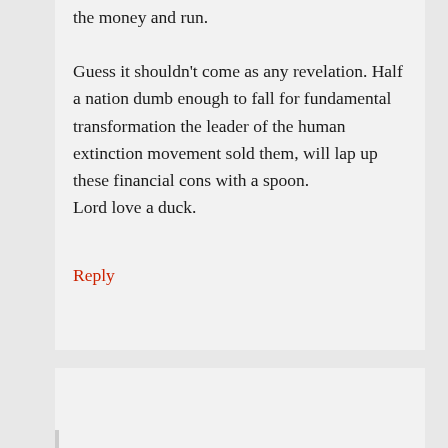the money and run.

Guess it shouldn't come as any revelation. Half a nation dumb enough to fall for fundamental transformation the leader of the human extinction movement sold them, will lap up these financial cons with a spoon.
Lord love a duck.
Reply